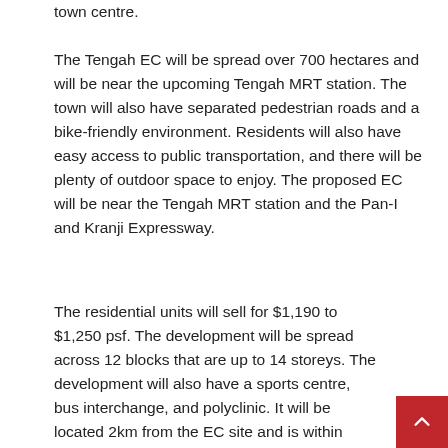town centre.
The Tengah EC will be spread over 700 hectares and will be near the upcoming Tengah MRT station. The town will also have separated pedestrian roads and a bike-friendly environment. Residents will also have easy access to public transportation, and there will be plenty of outdoor space to enjoy. The proposed EC will be near the Tengah MRT station and the Pan-I and Kranji Expressway.
The residential units will sell for $1,190 to $1,250 psf. The development will be spread across 12 blocks that are up to 14 storeys. The development will also have a sports centre, bus interchange, and polyclinic. It will be located 2km from the EC site and is within walking distance of Princess Elizabeth Primary School and Shuqun